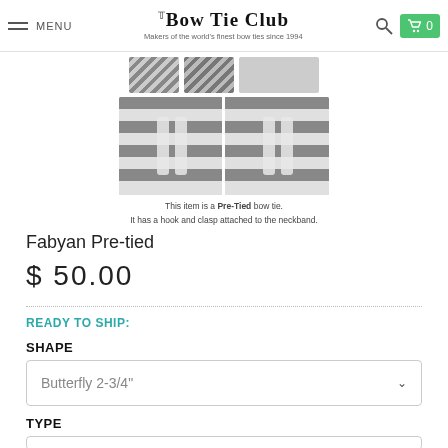THE BOW TIE CLUB — Makers of the world's finest bow ties since 1994
[Figure (photo): Close-up product photo of a striped pre-tied bow tie showing the hook and clasp mechanism on the neckband, with two side-by-side views.]
This item is a Pre-Tied bow tie. It has a hook and clasp attached to the neckband.
Fabyan Pre-tied
$ 50.00
READY TO SHIP:
SHAPE
Butterfly 2-3/4"
TYPE